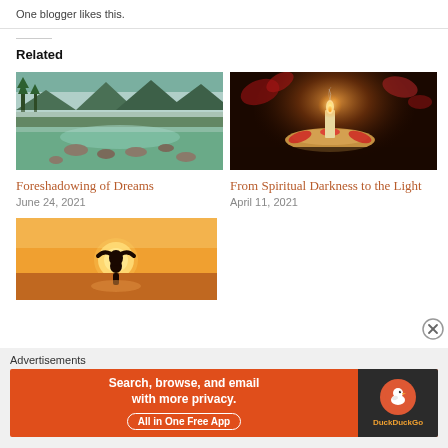One blogger likes this.
Related
[Figure (photo): Nature river scene with green forest and misty mountains]
Foreshadowing of Dreams
June 24, 2021
[Figure (photo): Lit candle on a dark background with flower petals]
From Spiritual Darkness to the Light
April 11, 2021
[Figure (photo): Person making heart shape with hands against sunset sky]
Advertisements
[Figure (screenshot): DuckDuckGo advertisement: Search, browse, and email with more privacy. All in One Free App]